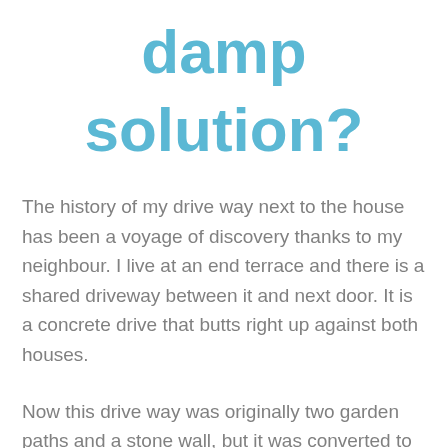damp solution?
The history of my drive way next to the house has been a voyage of discovery thanks to my neighbour. I live at an end terrace and there is a shared driveway between it and next door. It is a concrete drive that butts right up against both houses.
Now this drive way was originally two garden paths and a stone wall, but it was converted to a driveway to open up access to the back. This is a fine thing